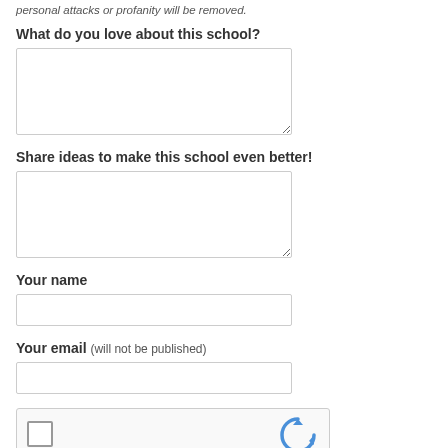personal attacks or profanity will be removed.
What do you love about this school?
[textarea input field]
Share ideas to make this school even better!
[textarea input field]
Your name
[text input field]
Your email (will not be published)
[text input field]
[Figure (other): reCAPTCHA widget with checkbox and Google reCAPTCHA logo]